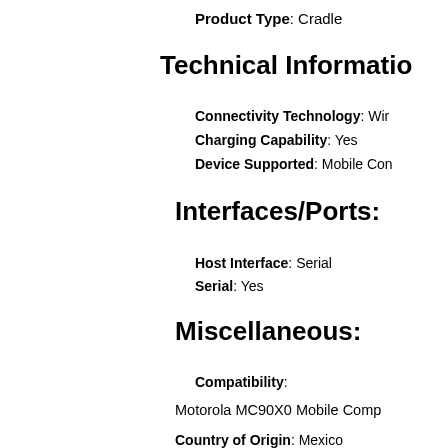Product Type: Cradle
Technical Information
Connectivity Technology: Wir…
Charging Capability: Yes
Device Supported: Mobile Com…
Interfaces/Ports:
Host Interface: Serial
Serial: Yes
Miscellaneous:
Compatibility:
Motorola MC90X0 Mobile Comp…
Country of Origin: Mexico